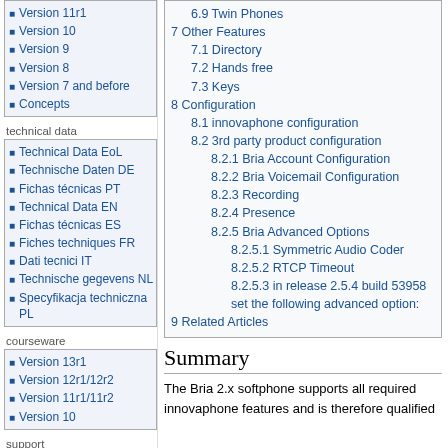Version 11r1
Version 10
Version 9
Version 8
Version 7 and before
Concepts
technical data
Technical Data EoL
Technische Daten DE
Fichas técnicas PT
Technical Data EN
Fichas técnicas ES
Fiches techniques FR
Dati tecnici IT
Technische gegevens NL
Specyfikacja techniczna PL
courseware
Version 13r1
Version 12r1/12r2
Version 11r1/11r2
Version 10
support
6.9 Twin Phones
7 Other Features
7.1 Directory
7.2 Hands free
7.3 Keys
8 Configuration
8.1 innovaphone configuration
8.2 3rd party product configuration
8.2.1 Bria Account Configuration
8.2.2 Bria Voicemail Configuration
8.2.3 Recording
8.2.4 Presence
8.2.5 Bria Advanced Options
8.2.5.1 Symmetric Audio Coder
8.2.5.2 RTCP Timeout
8.2.5.3 in release 2.5.4 build 53958 set the following advanced option:
9 Related Articles
Summary
The Bria 2.x softphone supports all required innovaphone features and is therefore qualified